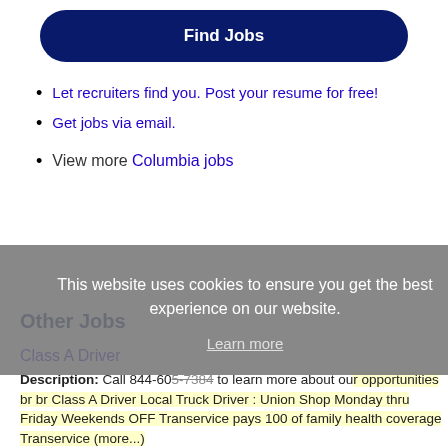[Figure (other): Blue rounded button labeled Find Jobs]
Let recruiters find you. Post your resume for free!
Get jobs via email.
View more Columbia jobs
This website uses cookies to ensure you get the best experience on our website. Learn more
Other Jobs
Class A Driver
Description: Call 844-605-7384 to learn more about our opportunities br br Class A Driver Local Truck Driver : Union Shop Monday thru Friday Weekends OFF Transervice pays 100 of family health coverage Transervice (more...)